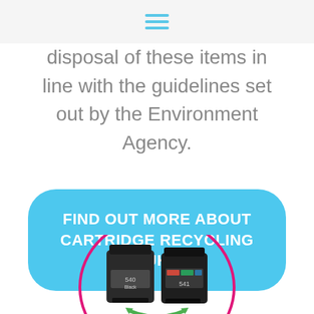disposal of these items in line with the guidelines set out by the Environment Agency.
FIND OUT MORE ABOUT CARTRIDGE RECYCLING UK
[Figure (photo): Two ink cartridges (black and color) inside a pink circular border, with a green recycling arrow at the bottom.]